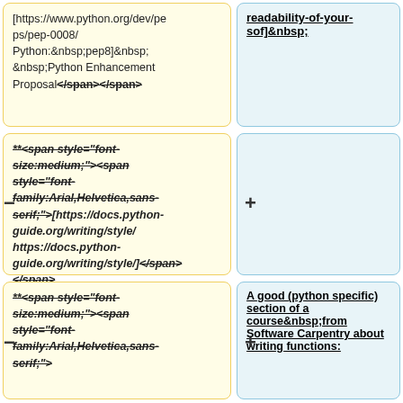[https://www.python.org/dev/peps/pep-0008/ Python: pep8]   Python Enhancement Proposal</span></span>
**<span style="font-size:medium;"><span style="font-family:Arial,Helvetica,sans-serif;">[https://docs.python-guide.org/writing/style/ https://docs.python-guide.org/writing/style/]</span></span>
**<span style="font-size:medium;"><span style="font-family:Arial,Helvetica,sans-serif;">
A good (python specific) section of a course from Software Carpentry about writing functions: